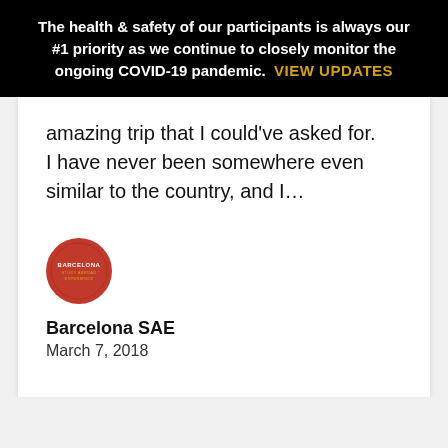The health & safety of our participants is always our #1 priority as we continue to closely monitor the ongoing COVID-19 pandemic.  VIEW UPDATES
amazing trip that I could've asked for. I have never been somewhere even similar to the country, and I...
[Figure (logo): Barcelona SAE circular red logo with white text]
Barcelona SAE
March 7, 2018